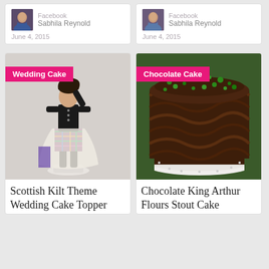[Figure (photo): Social card with avatar photo, Facebook platform label, name Sabhila Reynold, date June 4 2015 (left)]
[Figure (photo): Social card with avatar photo, Facebook platform label, name Sabhila Reynold, date June 4 2015 (right)]
[Figure (photo): Wedding cake topper figurine - Scottish Kilt Theme, with pink badge reading Wedding Cake]
Scottish Kilt Theme Wedding Cake Topper
[Figure (photo): Chocolate cake with green decoration - Chocolate King Arthur Flours Stout Cake, with pink badge reading Chocolate Cake]
Chocolate King Arthur Flours Stout Cake